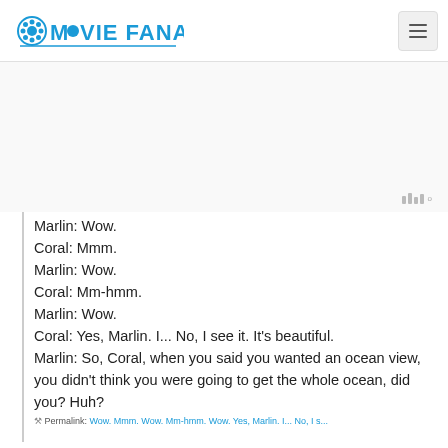MOVIE FANATIC
[Figure (other): Advertisement placeholder area with Moat ad indicator icon in bottom right]
Marlin: Wow.
Coral: Mmm.
Marlin: Wow.
Coral: Mm-hmm.
Marlin: Wow.
Coral: Yes, Marlin. I... No, I see it. It's beautiful.
Marlin: So, Coral, when you said you wanted an ocean view, you didn't think you were going to get the whole ocean, did you? Huh?
Permalink: Wow. Mmm. Wow. Mm-hmm. Wow. Yes, Marlin. I... No, I s...